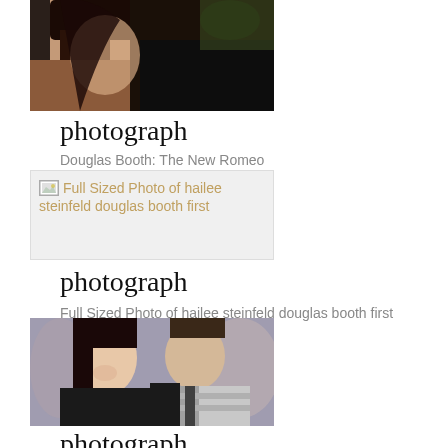[Figure (photo): Cropped photo showing two people in an embrace, partially visible from mid-section, outdoor/dark setting]
photograph
Douglas Booth: The New Romeo
[Figure (photo): Broken/placeholder image thumbnail with alt text: Full Sized Photo of hailee steinfeld douglas booth first]
photograph
Full Sized Photo of hailee steinfeld douglas booth first
[Figure (photo): Photo of a young woman and a young man (Hailee Steinfeld and Douglas Booth) at what appears to be a movie premiere or event]
photograph
Douglas Booth Spills on Kissing